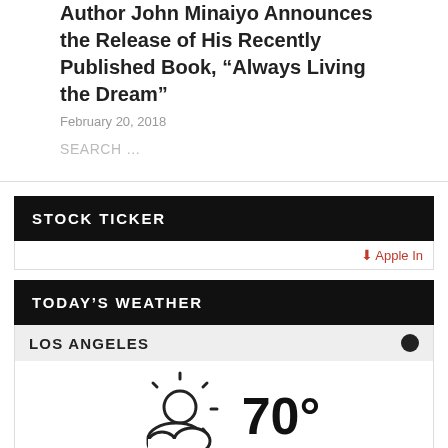Author John Minaiyo Announces the Release of His Recently Published Book, “Always Living the Dream”
February 20, 2018
SEARCH ...
STOCK TICKER
⬇ Apple In
TODAY’S WEATHER
LOS ANGELES
[Figure (infographic): Weather widget showing mostly cloudy icon with 70° temperature, description 'mostly cloudy', sunrise 6:18 am and sunset 7:34 pm PDT for Los Angeles]
6:18 am ☀ 7:34 pm PDT